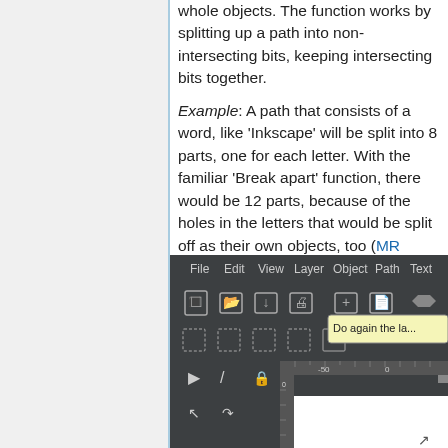whole objects. The function works by splitting up a path into non-intersecting bits, keeping intersecting bits together. Example: A path that consists of a word, like 'Inkscape' will be split into 8 parts, one for each letter. With the familiar 'Break apart' function, there would be 12 parts, because of the holes in the letters that would be split off as their own objects, too (MR #3738).
[Figure (screenshot): Screenshot of Inkscape application interface showing menu bar (File, Edit, View, Layer, Object, Path, Text), toolbar with icons, and a tooltip reading 'Do again the la...']